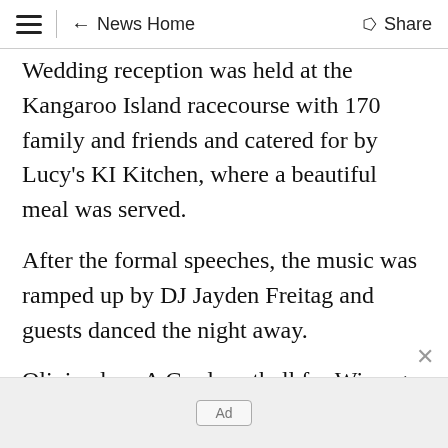News Home  Share
Wedding reception was held at the Kangaroo Island racecourse with 170 family and friends and catered for by Lucy's KI Kitchen, where a beautiful meal was served.
After the formal speeches, the music was ramped up by DJ Jayden Freitag and guests danced the night away.
Olivia plays A Grade netball for Wisanger and also A Grade basketball for Queenie.
[Figure (other): Advertisement placeholder box with 'Ad' label on grey background]